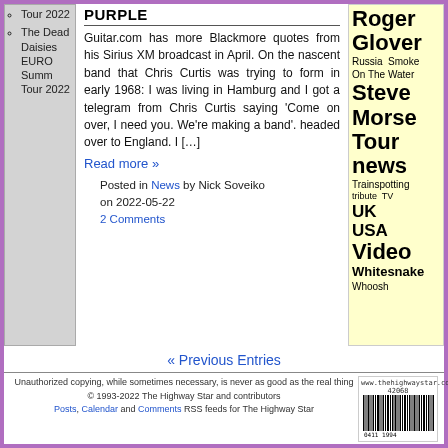Tour 2022
The Dead Daisies EURO Summit Tour 2022
PURPLE
Guitar.com has more Blackmore quotes from his Sirius XM broadcast in April. On the nascent band that Chris Curtis was trying to form in early 1968: I was living in Hamburg and I got a telegram from Chris Curtis saying 'Come on over, I need you. We're making a band'. headed over to England. I […]
Read more »
Posted in News by Nick Soveiko on 2022-05-22
2 Comments
Roger Glover
Russia Smoke On The Water Steve Morse Tour news Trainspotting tribute TV UK USA Video Whitesnake Whoosh
« Previous Entries
Unauthorized copying, while sometimes necessary, is never as good as the real thing
© 1993-2022 The Highway Star and contributors
Posts, Calendar and Comments RSS feeds for The Highway Star
www.thehighwaystar.com 42068